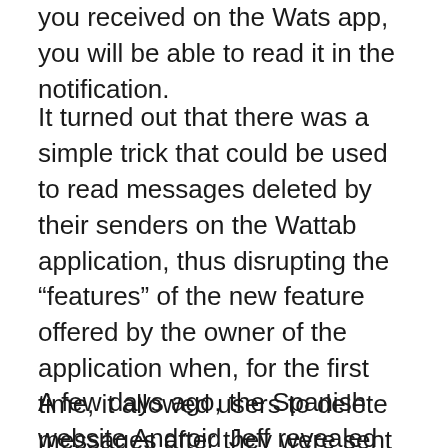you received on the Wats app, you will be able to read it in the notification.
It turned out that there was a simple trick that could be used to read messages deleted by their senders on the Wattab application, thus disrupting the “features” of the new feature offered by the owner of the application when, for the first time, it allowed users to delete messages after they were sent within seven minutes of And provided that the receiver or member of the group has not yet seen it.
A few days ago, the Spanish website Android Jeff revealed that the deleted